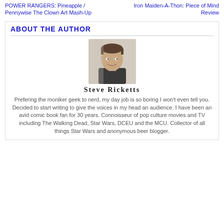POWER RANGERS: Pineapple / Pennywise The Clown Art Mash-Up
Iron Maiden-A-Thon: Piece of Mind Review
ABOUT THE AUTHOR
[Figure (photo): Headshot photo of Steve Ricketts, a young man with short dark hair, smiling, wearing a dark shirt]
Steve Ricketts
Prefering the moniker geek to nerd, my day job is so boring I won't even tell you. Decided to start writing to give the voices in my head an audience. I have been an avid comic book fan for 30 years. Connoisseur of pop culture movies and TV including The Walking Dead, Star Wars, DCEU and the MCU. Collector of all things Star Wars and anonymous beer blogger.